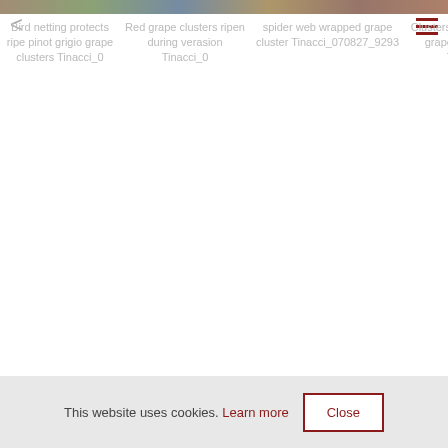[Figure (screenshot): Website screenshot showing a grid of image captions for grape/vineyard photos with navigation back button and hamburger menu. Cookie consent bar at the bottom.]
Bird netting protects ripe pinot grigio grape clusters Tinacci_0
Red grape clusters ripen during verasion Tinacci_0
spider web wrapped grape cluster Tinacci_070827_9293
Clusters of ripe nebbiolo grapes on the vine Tinacci_0
Ripe clusters of pinot noir grapes hang on the vine Tinacci_0
Clusters of ripe malbec wine grapes on the vine Tinacci_0
This website uses cookies. Learn more
Close